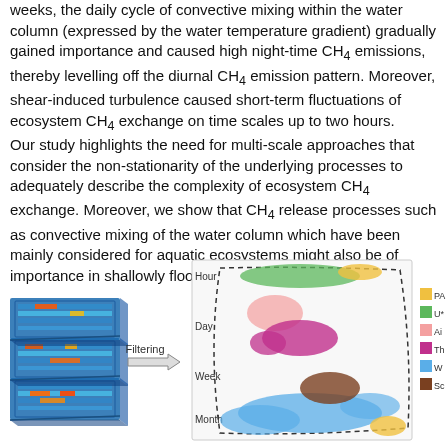weeks, the daily cycle of convective mixing within the water column (expressed by the water temperature gradient) gradually gained importance and caused high night-time CH4 emissions, thereby levelling off the diurnal CH4 emission pattern. Moreover, shear-induced turbulence caused short-term fluctuations of ecosystem CH4 exchange on time scales up to two hours.
Our study highlights the need for multi-scale approaches that consider the non-stationarity of the underlying processes to adequately describe the complexity of ecosystem CH4 exchange. Moreover, we show that CH4 release processes such as convective mixing of the water column which have been mainly considered for aquatic ecosystems might also be of importance in shallowly flooded terrestrial ecosystems.
[Figure (infographic): Multi-scale filtering diagram showing three layered heat-map panels on the left with an arrow labeled 'Filtering' pointing right to a world map with colored regions at different time scales (Hour, Day, Week, Month). A legend on the right shows colored boxes for PA, U*, Air, Th, Wa, Sc.]